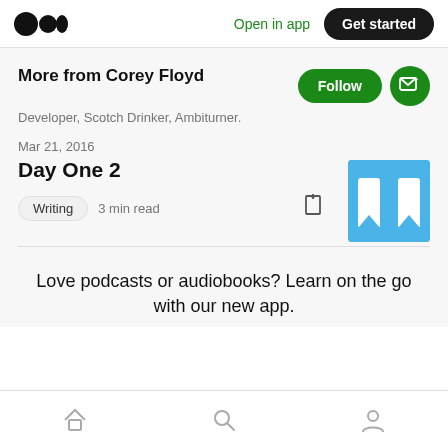Medium logo | Open in app | Get started
More from Corey Floyd
Developer, Scotch Drinker, Ambiturner.
Mar 21, 2016
Day One 2
Writing  3 min read
Love podcasts or audiobooks? Learn on the go with our new app.
Home | Search | Profile